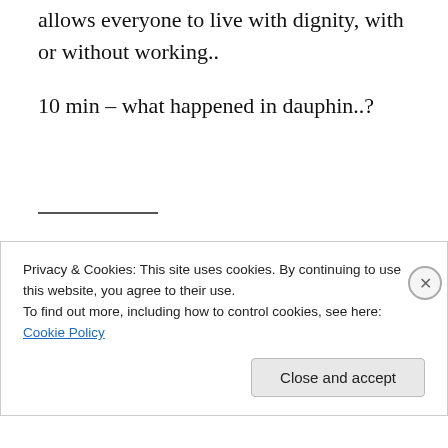allows everyone to live with dignity, with or without working..
10 min – what happened in dauphin..?
aug 2013 – interview:
A Way to Get Healthy: Basic Income Experiments in Canada
Privacy & Cookies: This site uses cookies. By continuing to use this website, you agree to their use. To find out more, including how to control cookies, see here: Cookie Policy
Close and accept